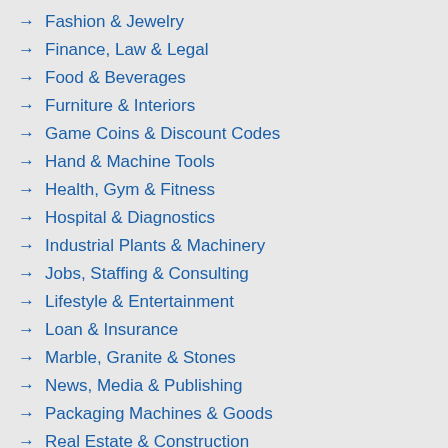Fashion & Jewelry
Finance, Law & Legal
Food & Beverages
Furniture & Interiors
Game Coins & Discount Codes
Hand & Machine Tools
Health, Gym & Fitness
Hospital & Diagnostics
Industrial Plants & Machinery
Jobs, Staffing & Consulting
Lifestyle & Entertainment
Loan & Insurance
Marble, Granite & Stones
News, Media & Publishing
Packaging Machines & Goods
Real Estate & Construction
Shopping & Daily Needs